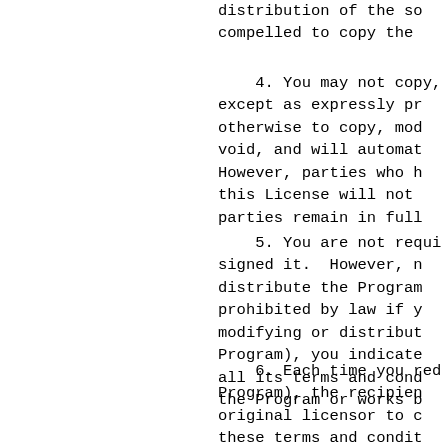distribution of the so compelled to copy the
4. You may not copy, except as expressly pr otherwise to copy, mod void, and will automat However, parties who h this License will not parties remain in full
5. You are not requi signed it. However, n distribute the Program prohibited by law if y modifying or distribut Program), you indicate all its terms and cond the Program or works b
6. Each time you red Program), the recipien original licensor to c these terms and condit restrictions on the re You are not responsibl this License.